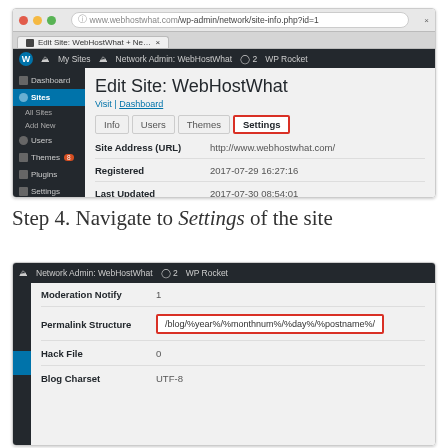[Figure (screenshot): WordPress Network Admin screenshot showing Edit Site: WebHostWhat page with Settings tab highlighted in red border. Shows Info, Users, Themes, Settings tabs. Fields: Site Address (URL): http://www.webhostwhat.com/, Registered: 2017-07-29 16:27:16, Last Updated: 2017-07-30 08:54:01. Sidebar shows Dashboard, Sites (active), Users, Themes, Plugins, Settings, Collapse menu.]
Step 4. Navigate to Settings of the site
[Figure (screenshot): WordPress Network Admin screenshot showing site settings with Permalink Structure field highlighted in red border containing /blog/%year%/%monthnum%/%day%/%postname%/. Also shows Moderation Notify: 1, Hack File: 0, Blog Charset (partially visible).]